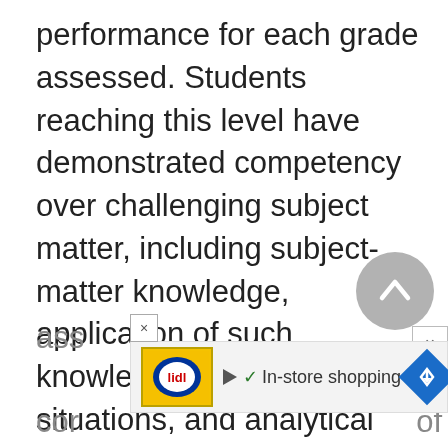performance for each grade assessed. Students reaching this level have demonstrated competency over challenging subject matter, including subject-matter knowledge, application of such knowledge to real-world situations, and analytical skills appropriate to the subject matter." The advanced level was defined as "superior performance." Achievement levels provide another way to report
ass
cor
[Figure (other): Advertisement banner with Lidl logo, play button, checkmark icon, 'In-store shopping' text, and blue diamond-shaped navigation arrow icon]